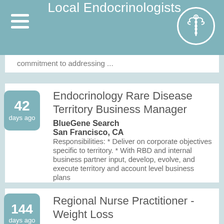Local Endocrinologists
commitment to addressing ...
Endocrinology Rare Disease Territory Business Manager
BlueGene Search
San Francisco, CA
Responsibilities: * Deliver on corporate objectives specific to territory. * With RBD and internal business partner input, develop, evolve, and execute territory and account level business plans
Regional Nurse Practitioner - Weight Loss
JumpstartMD
Mountain View, CA
The ideal candidate will have a background in weight loss, nutrition, women's health